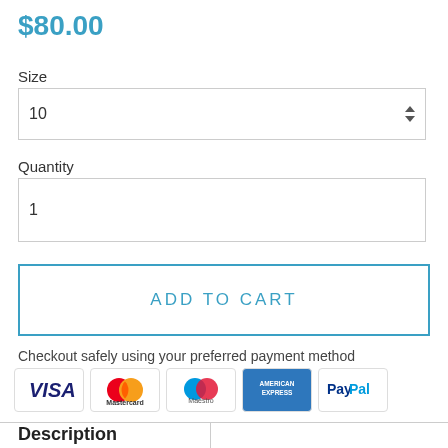$80.00
Size
10
Quantity
1
ADD TO CART
Checkout safely using your preferred payment method
[Figure (other): Payment method logos: VISA, Mastercard, Maestro, American Express, PayPal]
Description